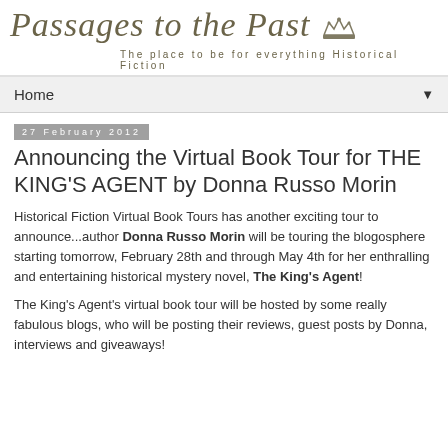Passages to the Past — The place to be for everything Historical Fiction
Home
27 February 2012
Announcing the Virtual Book Tour for THE KING'S AGENT by Donna Russo Morin
Historical Fiction Virtual Book Tours has another exciting tour to announce...author Donna Russo Morin will be touring the blogosphere starting tomorrow, February 28th and through May 4th for her enthralling and entertaining historical mystery novel, The King's Agent!
The King's Agent's virtual book tour will be hosted by some really fabulous blogs, who will be posting their reviews, guest posts by Donna, interviews and giveaways!